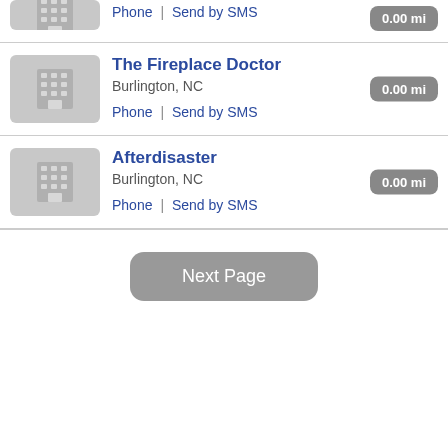Phone | Send by SMS (partial top entry, 0.00 mi)
The Fireplace Doctor, Burlington, NC, 0.00 mi, Phone | Send by SMS
Afterdisaster, Burlington, NC, 0.00 mi, Phone | Send by SMS
Next Page